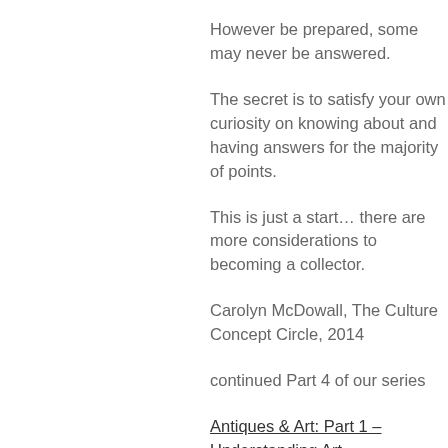However be prepared, some may never be answered.
The secret is to satisfy your own curiosity on knowing about and having answers for the majority of points.
This is just a start… there are more considerations to becoming a collector.
Carolyn McDowall, The Culture Concept Circle, 2014
continued Part 4 of our series
Antiques & Art: Part 1 – Understanding Art